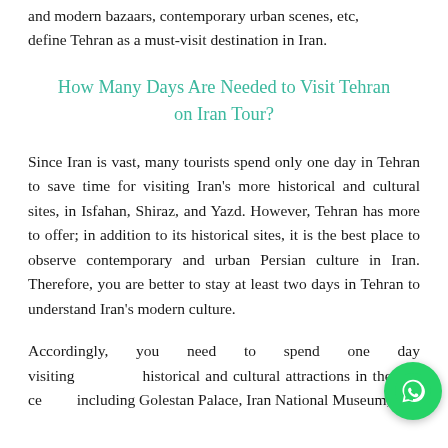and modern bazaars, contemporary urban scenes, etc, define Tehran as a must-visit destination in Iran.
How Many Days Are Needed to Visit Tehran on Iran Tour?
Since Iran is vast, many tourists spend only one day in Tehran to save time for visiting Iran's more historical and cultural sites, in Isfahan, Shiraz, and Yazd. However, Tehran has more to offer; in addition to its historical sites, it is the best place to observe contemporary and urban Persian culture in Iran. Therefore, you are better to stay at least two days in Tehran to understand Iran's modern culture.
Accordingly, you need to spend one day visiting historical and cultural attractions in the city centre including Golestan Palace, Iran National Museum,